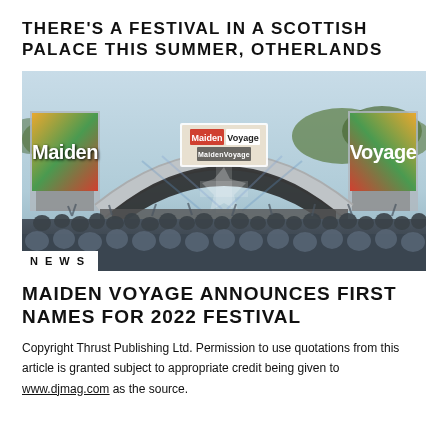THERE'S A FESTIVAL IN A SCOTTISH PALACE THIS SUMMER, OTHERLANDS
[Figure (photo): Outdoor music festival stage with 'Maiden Voyage' branding on large screens on either side and above the stage entrance. A large crowd of festival-goers is visible in the foreground with their hands raised. The stage is lit with blue and white stage lights.]
NEWS
MAIDEN VOYAGE ANNOUNCES FIRST NAMES FOR 2022 FESTIVAL
Copyright Thrust Publishing Ltd. Permission to use quotations from this article is granted subject to appropriate credit being given to www.djmag.com as the source.